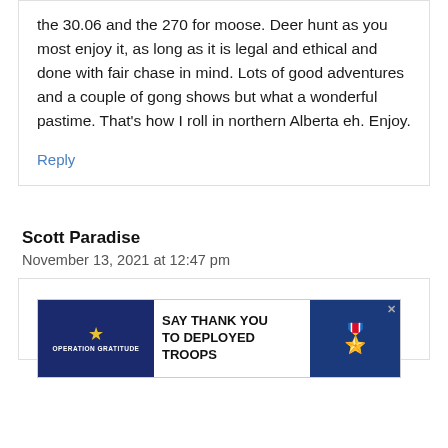the 30.06 and the 270 for moose. Deer hunt as you most enjoy it, as long as it is legal and ethical and done with fair chase in mind. Lots of good adventures and a couple of gong shows but what a wonderful pastime. That's how I roll in northern Alberta eh. Enjoy.
Reply
Scott Paradise
November 13, 2021 at 12:47 pm
[Figure (other): Advertisement banner for Operation Gratitude: SAY THANK YOU TO DEPLOYED TROOPS, with patriotic imagery including stars and a cartoon soldier mascot]